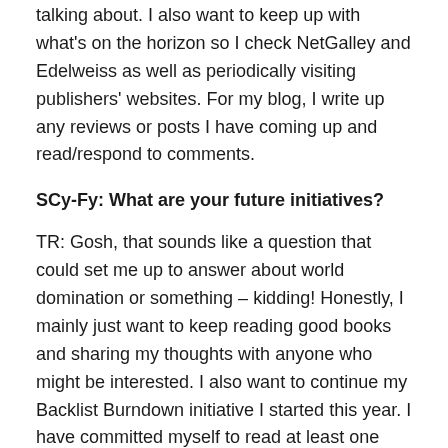talking about. I also want to keep up with what's on the horizon so I check NetGalley and Edelweiss as well as periodically visiting publishers' websites. For my blog, I write up any reviews or posts I have coming up and read/respond to comments.
SCy-Fy: What are your future initiatives?
TR: Gosh, that sounds like a question that could set me up to answer about world domination or something – kidding! Honestly, I mainly just want to keep reading good books and sharing my thoughts with anyone who might be interested. I also want to continue my Backlist Burndown initiative I started this year. I have committed myself to read at least one backlist book every month (and invited others to join in). It is so easy to get caught up in all of the new releases with blogging (which all look amazing!) but I